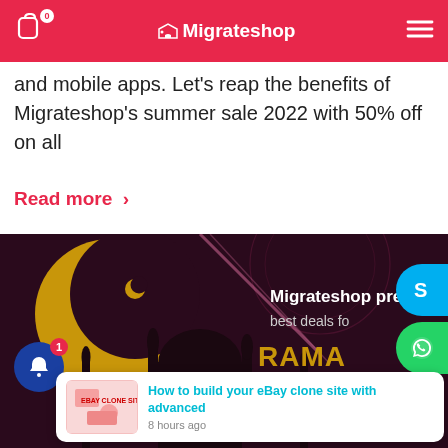Migrateshop
and mobile apps. Let's reap the benefits of Migrateshop's summer sale 2022 with 50% off on all
Read more >
[Figure (screenshot): Migrateshop Ramadan Sale 2022 promotional banner with mosque silhouette on dark purple background with gold crescent moon]
How to build your eBay clone site with advanced
8 hours ago